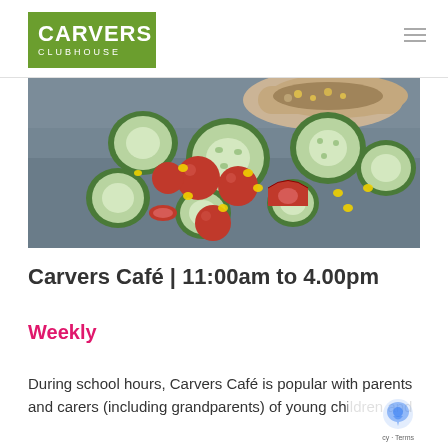[Figure (logo): Carvers Clubhouse logo — green rectangle background with white bold text CARVERS and smaller CLUBHOUSE below]
[Figure (photo): Close-up food photograph of sliced cucumber rounds, cherry tomatoes (whole and halved), sweetcorn kernels, and a filled wrap/sandwich on a dark slate surface]
Carvers Café | 11:00am to 4.00pm
Weekly
During school hours, Carvers Café is popular with parents and carers (including grandparents) of young children and